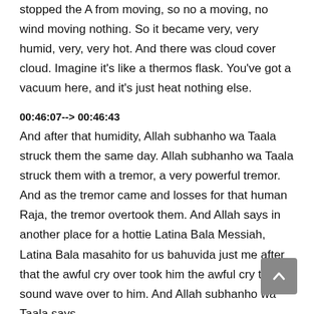stopped the A from moving, so no a moving, no wind moving nothing. So it became very, very humid, very, very hot. And there was cloud cover cloud. Imagine it's like a thermos flask. You've got a vacuum here, and it's just heat nothing else.
00:46:07--> 00:46:43
And after that humidity, Allah subhanho wa Taala struck them the same day. Allah subhanho wa Taala struck them with a tremor, a very powerful tremor. And as the tremor came and losses for that human Raja, the tremor overtook them. And Allah says in another place for a hottie Latina Bala Messiah, Latina Bala masahito for us bahuvida just me after that the awful cry over took him the awful cry the sound wave over to him. And Allah subhanho wa Taala says
00:46:45--> 00:46:46